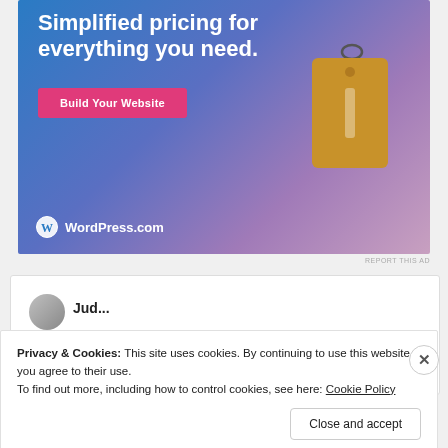[Figure (illustration): WordPress.com advertisement banner with gradient blue-to-pink background, large white bold text 'Simplified pricing for everything you need.', a pink button labeled 'Build Your Website', a 3D price tag graphic, and WordPress.com logo at bottom left.]
REPORT THIS AD
Privacy & Cookies: This site uses cookies. By continuing to use this website, you agree to their use.
To find out more, including how to control cookies, see here: Cookie Policy
Close and accept